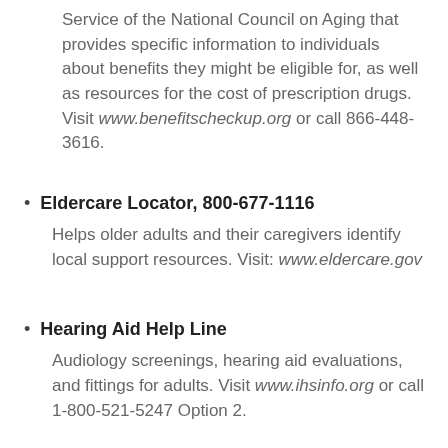Service of the National Council on Aging that provides specific information to individuals about benefits they might be eligible for, as well as resources for the cost of prescription drugs. Visit www.benefitscheckup.org or call 866-448-3616.
Eldercare Locator, 800-677-1116
Helps older adults and their caregivers identify local support resources. Visit: www.eldercare.gov
Hearing Aid Help Line
Audiology screenings, hearing aid evaluations, and fittings for adults. Visit www.ihsinfo.org or call 1-800-521-5247 Option 2.